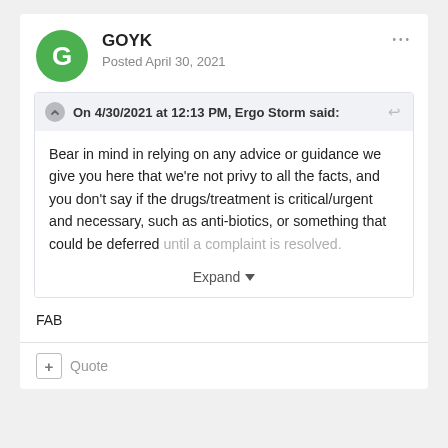GOYK
Posted April 30, 2021
On 4/30/2021 at 12:13 PM, Ergo Storm said:
Bear in mind in relying on any advice or guidance we give you here that we're not privy to all the facts, and you don't say if the drugs/treatment is critical/urgent and necessary, such as anti-biotics, or something that could be deferred until a complaint is resolved.
Expand
FAB
+ Quote